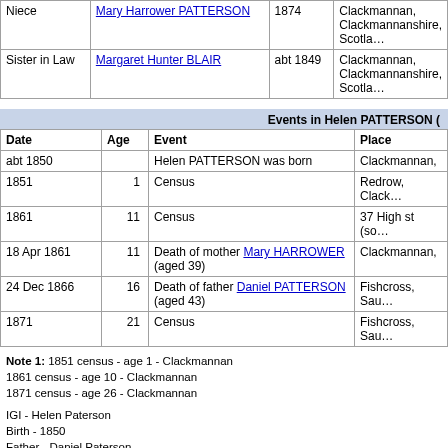|  | Name | Birth | Place |
| --- | --- | --- | --- |
| Niece | Mary Harrower PATTERSON | 1874 | Clackmannan, Clackmannanshire, Scotla… |
| Sister in Law | Margaret Hunter BLAIR | abt 1849 | Clackmannan, Clackmannanshire, Scotla… |
| Date | Age | Event | Place |
| --- | --- | --- | --- |
| abt 1850 |  | Helen PATTERSON was born | Clackmannan, |
| 1851 | 1 | Census | Redrow, Clack… |
| 1861 | 11 | Census | 37 High st (so… |
| 18 Apr 1861 | 11 | Death of mother Mary HARROWER (aged 39) | Clackmannan, |
| 24 Dec 1866 | 16 | Death of father Daniel PATTERSON (aged 43) | Fishcross, Sau… |
| 1871 | 21 | Census | Fishcross, Sau… |
Note 1: 1851 census - age 1 - Clackmannan
1861 census - age 10 - Clackmannan
1871 census - age 26 - Clackmannan
IGI - Helen Paterson
Birth - 1850
Father - Daniel Paterson
Mother - Mary Harrower
Note 2: PATERSON
Daniel (28 - 1823 - Clackmannan) - coal miner
Mary (27 - 1824 - Clackmannan)
Ann (6 - 1845 - Clackmannan) - scholar
Andrew (4 - 1847 - Clackmannan) - scholar
William (3 - 1848 - Clackmannan)
Helen (1 - 1850 - Clackmannan)
Note 3: PATERSON
Daniel (42 - 1819 - Clackmannan) - coal miner
Mary (42 - 1819 - Clackmannan)